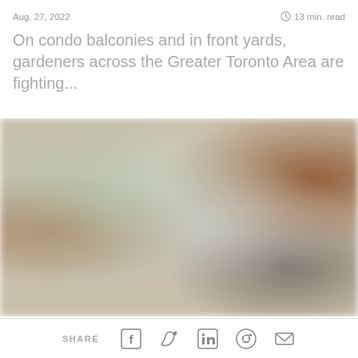Aug. 27, 2022    13 min. read
On condo balconies and in front yards, gardeners across the Greater Toronto Area are fighting...
[Figure (photo): A blurry outdoor photo showing blurred greenery and garden elements with warm brown tones on the sides, likely showing a garden or balcony scene]
SHARE [Facebook] [Twitter] [LinkedIn] [Reddit] [Email]